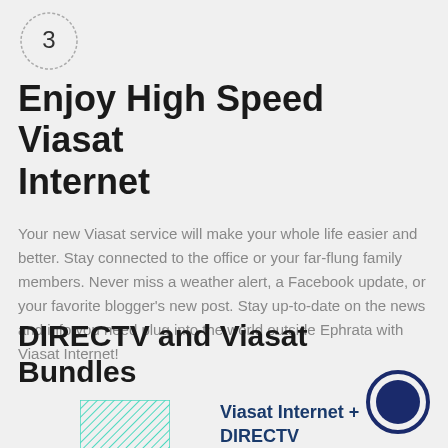[Figure (illustration): Circle with number 3 inside, hand-drawn style border]
Enjoy High Speed Viasat Internet
Your new Viasat service will make your whole life easier and better. Stay connected to the office or your far-flung family members. Never miss a weather alert, a Facebook update, or your favorite blogger's new post. Stay up-to-date on the news and info you need plug into the world outside Ephrata with Viasat Internet!
DIRECTV and Viasat Bundles
[Figure (illustration): Dark navy filled circle with lighter ring border]
[Figure (illustration): Teal hatched square graphic]
Viasat Internet + DIRECTV